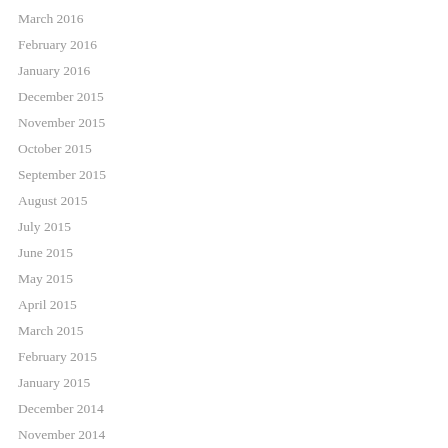March 2016
February 2016
January 2016
December 2015
November 2015
October 2015
September 2015
August 2015
July 2015
June 2015
May 2015
April 2015
March 2015
February 2015
January 2015
December 2014
November 2014
October 2014